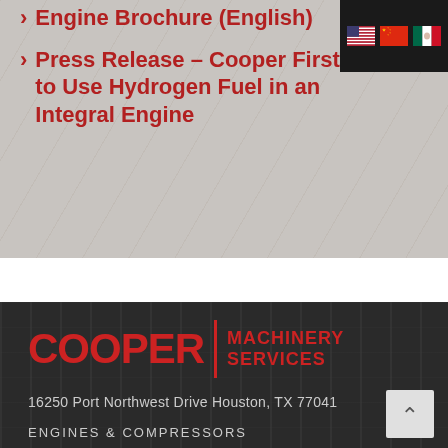[Figure (illustration): Flag icons for USA, China, and Mexico displayed in a dark header bar in the top right corner]
Engine Brochure (English)
Press Release – Cooper First to Use Hydrogen Fuel in an Integral Engine
[Figure (logo): Cooper Machinery Services logo with large red COOPER text, vertical red divider, and MACHINERY SERVICES text on dark industrial background]
16250 Port Northwest Drive Houston, TX 77041
ENGINES & COMPRESSORS